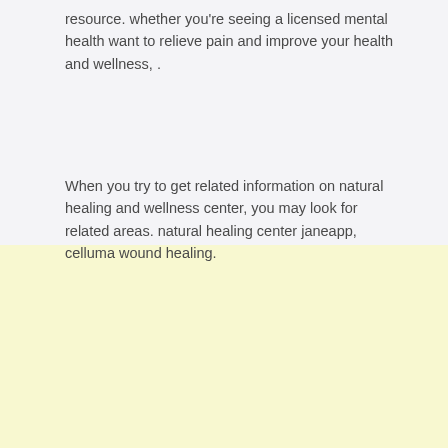resource. whether you're seeing a licensed mental health want to relieve pain and improve your health and wellness, .
When you try to get related information on natural healing and wellness center, you may look for related areas. natural healing center janeapp, celluma wound healing.